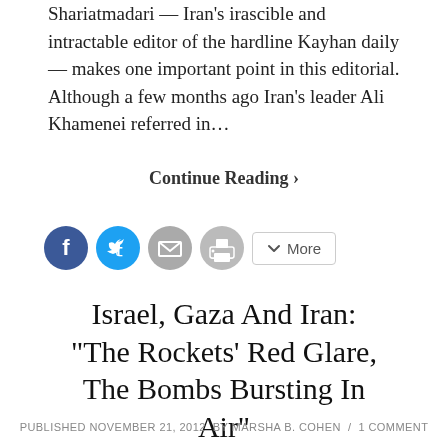Shariatmadari — Iran's irascible and intractable editor of the hardline Kayhan daily — makes one important point in this editorial. Although a few months ago Iran's leader Ali Khamenei referred in…
Continue Reading ›
[Figure (other): Social sharing buttons: Facebook (blue circle), Twitter (blue circle), Email (gray circle), Print (gray circle), and a More button]
Israel, Gaza And Iran: “The Rockets’ Red Glare, The Bombs Bursting In Air”
PUBLISHED NOVEMBER 21, 2012  BY MARSHA B. COHEN  /  1 COMMENT